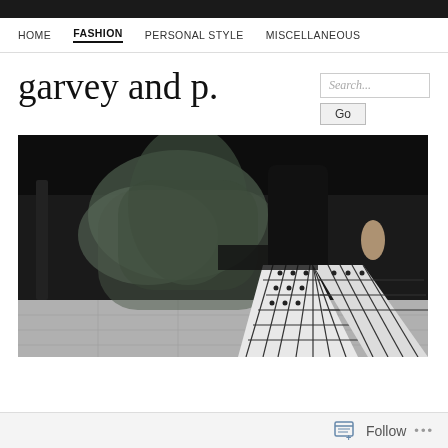HOME   FASHION   PERSONAL STYLE   MISCELLANEOUS
garvey and p.
[Figure (photo): Fashion photograph showing a person mid-stride wearing black and white checked/plaid flared trousers and a flowing dark green/grey coat, photographed against a dark background with light floor tiles]
Follow ...